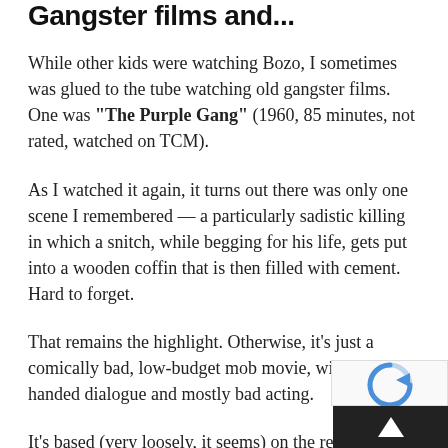Gangster films and...
While other kids were watching Bozo, I sometimes was glued to the tube watching old gangster films. One was "The Purple Gang" (1960, 85 minutes, not rated, watched on TCM).
As I watched it again, it turns out there was only one scene I remembered — a particularly sadistic killing in which a snitch, while begging for his life, gets put into a wooden coffin that is then filled with cement. Hard to forget.
That remains the highlight. Otherwise, it's just a comically bad, low-budget mob movie, with heavy-handed dialogue and mostly bad acting.
It's based (very loosely, it seems) on the real Purple Gang, a group of mostly Jewish youngsters who terrorized Detroit during the Prohibition Era.
Barry Sullivan plays the conscientious cop who, when not trying to stop "the Purples," pontificates about how